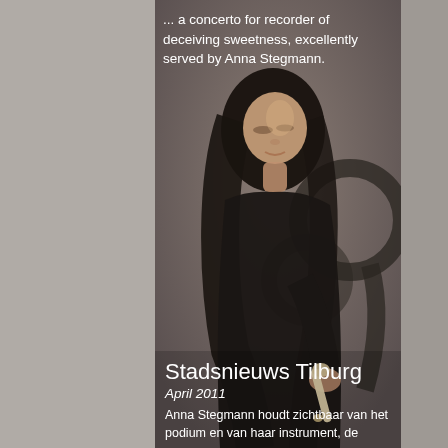[Figure (photo): A woman with long dark hair dressed in black, looking down, holding a recorder (musical instrument). The background is dark grey/brown. There is a large decorative graphic of a recorder overlaid in the background.]
... a concerto for recorder of deceiving sweetness, excellently served by Anna Stegmann.
Stadsnieuws Tilburg
April 2011
Anna Stegmann houdt zichtbaar van het podium en van haar instrument, de